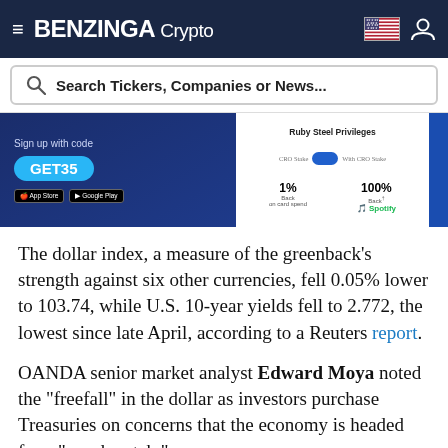BENZINGA Crypto
Search Tickers, Companies or News...
[Figure (photo): Advertisement banner for a crypto card app. Left side (dark blue): 'Sign up with code GET35' with App Store and Google Play badges. Right side (white): 'Ruby Steel Privileges' with toggle, '1% Back on card spend', '100% Back', Spotify logo.]
The dollar index, a measure of the greenback’s strength against six other currencies, fell 0.05% lower to 103.74, while U.S. 10-year yields fell to 2.772, the lowest since late April, according to a Reuters report.
OANDA senior market analyst Edward Moya noted the “freefall” in the dollar as investors purchase Treasuries on concerns that the economy is headed for a “rough patch.”